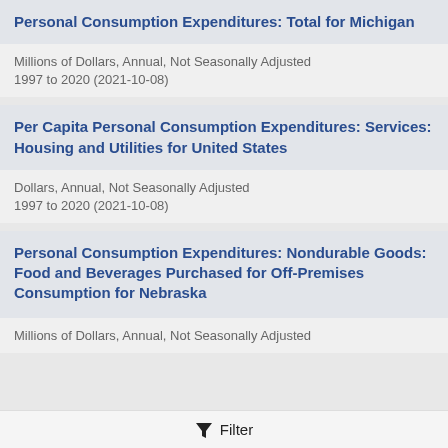Personal Consumption Expenditures: Total for Michigan
Millions of Dollars, Annual, Not Seasonally Adjusted
1997 to 2020 (2021-10-08)
Per Capita Personal Consumption Expenditures: Services: Housing and Utilities for United States
Dollars, Annual, Not Seasonally Adjusted
1997 to 2020 (2021-10-08)
Personal Consumption Expenditures: Nondurable Goods: Food and Beverages Purchased for Off-Premises Consumption for Nebraska
Millions of Dollars, Annual, Not Seasonally Adjusted
Filter